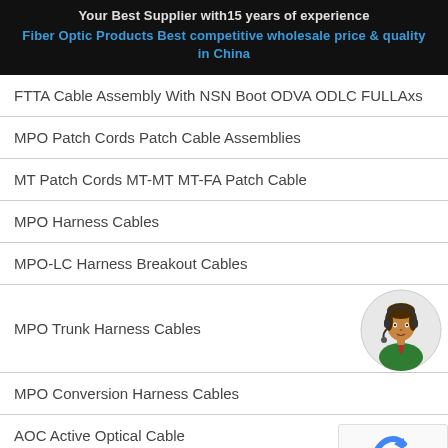Your Best Supplier with15 years of experience
Fiber Optic Products Best competitive wholesale price & quality in China
FTTA Cable Assembly With NSN Boot ODVA ODLC FULLAxs
MPO Patch Cords Patch Cable Assemblies
MT Patch Cords MT-MT MT-FA Patch Cable
MPO Harness Cables
MPO-LC Harness Breakout Cables
MPO Trunk Harness Cables
MPO Conversion Harness Cables
AOC Active Optical Cable
DAC Direct Attach Cable